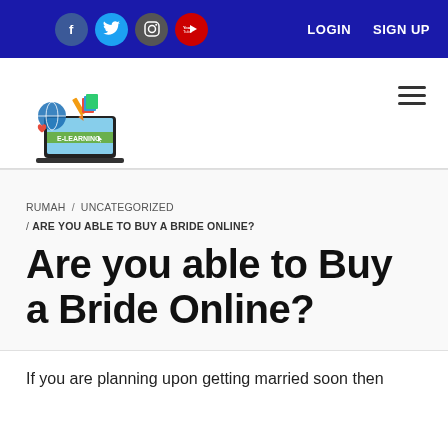LOGIN  SIGN UP
[Figure (logo): E-Learning website logo with laptop, globe, and educational icons]
RUMAH / UNCATEGORIZED / ARE YOU ABLE TO BUY A BRIDE ONLINE?
Are you able to Buy a Bride Online?
If you are planning upon getting married soon then